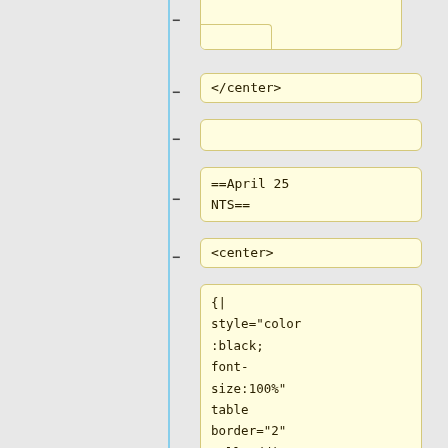[Figure (screenshot): Code editor diff view showing wiki markup content with colored blocks. Top partial block (cropped), then blocks showing: </center>, empty line, ==April 25 NTS==, <center>, and a large block with wiki table markup: {| style="color:black; font-size:100%" table border="2" cellpadding="10" width="700" cellspacing=]
</center>
==April 25 NTS==
<center>
{|
style="color
:black;
font-
size:100%"
table
border="2"
cellpadding=
"10"
width="700"
cellspacing=